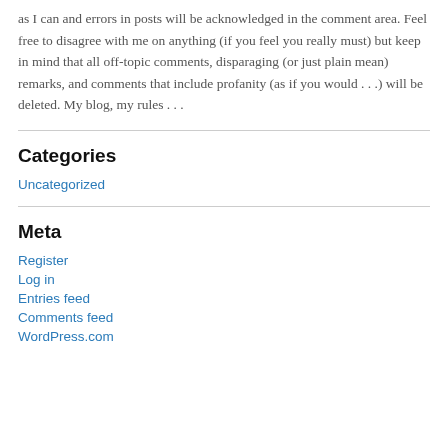as I can and errors in posts will be acknowledged in the comment area. Feel free to disagree with me on anything (if you feel you really must) but keep in mind that all off-topic comments, disparaging (or just plain mean) remarks, and comments that include profanity (as if you would . . .) will be deleted. My blog, my rules . . .
Categories
Uncategorized
Meta
Register
Log in
Entries feed
Comments feed
WordPress.com